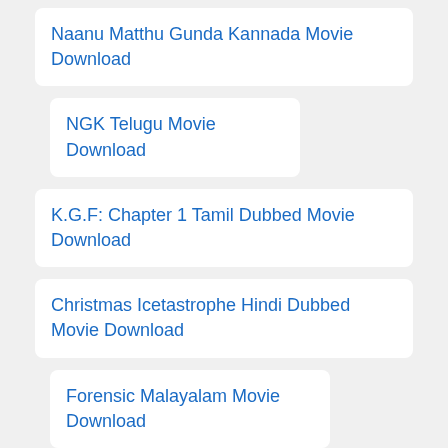Naanu Matthu Gunda Kannada Movie Download
NGK Telugu Movie Download
K.G.F: Chapter 1 Tamil Dubbed Movie Download
Christmas Icetastrophe Hindi Dubbed Movie Download
Forensic Malayalam Movie Download
Chaal Jeevi Laiye Gujarati Full Movie Download
You Should Have Left English Full Movie Download